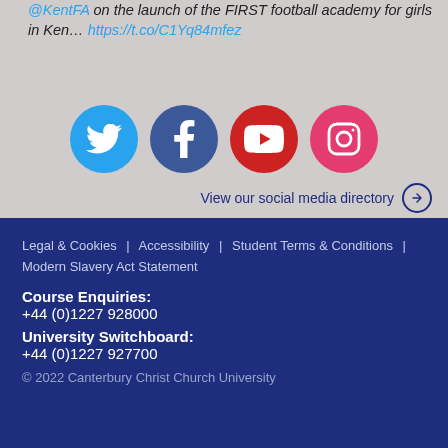@KentFA on the launch of the FIRST football academy for girls in Ken… https://t.co/C1Yq84mfez
[Figure (infographic): Four social media icon circles: Twitter (blue), Facebook (dark blue), YouTube (red), Instagram (pink-red)]
View our social media directory →
Legal & Cookies | Accessibility | Student Terms & Conditions | Modern Slavery Act Statement
Course Enquiries:
+44 (0)1227 928000
University Switchboard:
+44 (0)1227 927700
© 2022 Canterbury Christ Church University